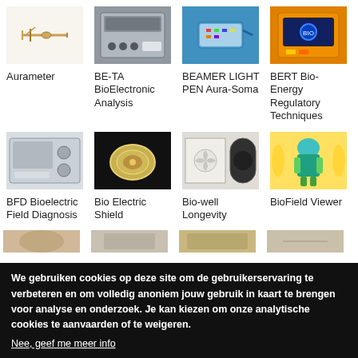[Figure (photo): Aurameter device - golden rods on white background]
Aurameter
[Figure (photo): BE-TA BioElectronic Analysis device - gray electronic analyzer]
BE-TA BioElectronic Analysis
[Figure (photo): BEAMER LIGHT PEN Aura-Soma - blue device on blue background]
BEAMER LIGHT PEN Aura-Soma
[Figure (photo): BERT Bio-Energy Regulatory Techniques - orange device]
BERT Bio-Energy Regulatory Techniques
[Figure (photo): BFD Bioelectric Field Diagnosis device - white unit with knobs]
BFD Bioelectric Field Diagnosis
[Figure (photo): Bio Electric Shield - golden dome shaped device on black background]
Bio Electric Shield
[Figure (photo): Bio-well Longevity - white panel with flower design and black disc]
Bio-well Longevity
[Figure (photo): BioField Viewer - thermographic image of human body]
BioField Viewer
We gebruiken cookies op deze site om de gebruikerservaring te verbeteren en om volledig anoniem jouw gebruik in kaart te brengen voor analyse en onderzoek. Je kan kiezen om onze analytische cookies te aanvaarden of te weigeren.
Nee, geef me meer info